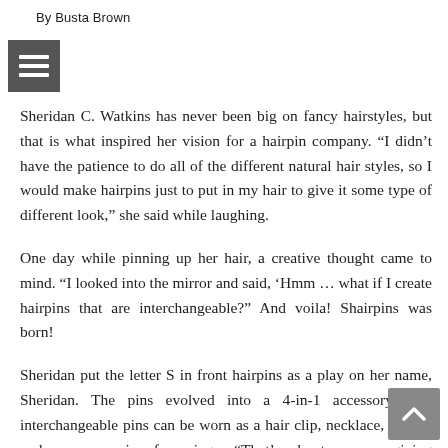By Busta Brown
Sheridan C. Watkins has never been big on fancy hairstyles, but that is what inspired her vision for a hairpin company. “I didn’t have the patience to do all of the different natural hair styles, so I would make hairpins just to put in my hair to give it some type of different look,” she said while laughing.
One day while pinning up her hair, a creative thought came to mind. “I looked into the mirror and said, ‘Hmm … what if I create hairpins that are interchangeable?” And voila! Shairpins was born!
Sheridan put the letter S in front hairpins as a play on her name, Sheridan. The pins evolved into a 4-in-1 accessory. The interchangeable pins can be worn as a hair clip, necklace, brooch and even a pair of earrings. “That’s about women giving themselves permission and having the confidence to express themselves and wear what they choose,” shared the Winston-Salem State University alum.
Ladies, you’re going to fall in love with the Lightbulb Charm Textile and the Multicolored Afrocentric Earrings. Shairpins also has a noninterchangeable line of earrings, necklaces, and décor. All